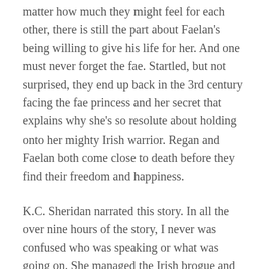matter how much they might feel for each other, there is still the part about Faelan's being willing to give his life for her. And one must never forget the fae. Startled, but not surprised, they end up back in the 3rd century facing the fae princess and her secret that explains why she's so resolute about holding onto her mighty Irish warrior. Regan and Faelan both come close to death before they find their freedom and happiness.
K.C. Sheridan narrated this story. In all the over nine hours of the story, I never was confused who was speaking or what was going on. She managed the Irish brogue and the deep southern drawl really well. I was amazed at first when she did it, but as the story went on it just seemed natural to hear her switch back and forth. Her voice was perfect as she seems to have a